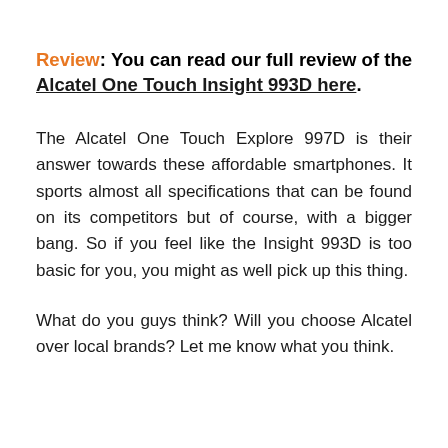Review: You can read our full review of the Alcatel One Touch Insight 993D here.
The Alcatel One Touch Explore 997D is their answer towards these affordable smartphones. It sports almost all specifications that can be found on its competitors but of course, with a bigger bang. So if you feel like the Insight 993D is too basic for you, you might as well pick up this thing.
What do you guys think? Will you choose Alcatel over local brands? Let me know what you think.